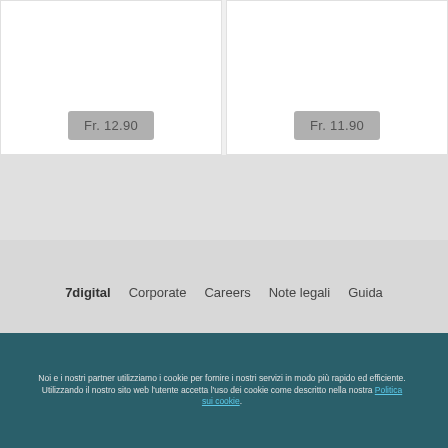Fr. 12.90
Fr. 11.90
7digital  Corporate  Careers  Note legali  Guida
[Figure (logo): Twitter bird icon in blue circle]
Torna a inizio pagina
Noi e i nostri partner utilizziamo i cookie per fornire i nostri servizi in modo più rapido ed efficiente. Utilizzando il nostro sito web l'utente accetta l'uso dei cookie come descritto nella nostra Politica sui cookie.